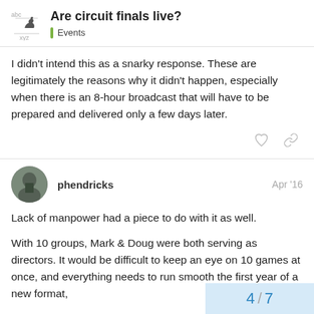Are circuit finals live? | Events
I didn't intend this as a snarky response. These are legitimately the reasons why it didn't happen, especially when there is an 8-hour broadcast that will have to be prepared and delivered only a few days later.
phendricks Apr '16
Lack of manpower had a piece to do with it as well.
With 10 groups, Mark & Doug were both serving as directors. It would be difficult to keep an eye on 10 games at once, and everything needs to run smooth the first year of a new format,
Jon was playing, so he was unavailable to run the boards,
4 / 7